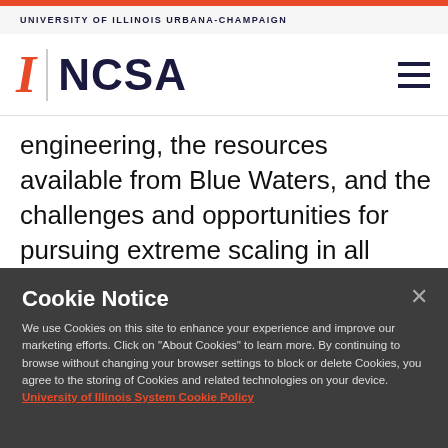UNIVERSITY OF ILLINOIS URBANA-CHAMPAIGN
[Figure (logo): University of Illinois I logo and NCSA wordmark with hamburger menu icon]
engineering, the resources available from Blue Waters, and the challenges and opportunities for pursuing extreme scaling in all fields of study. The team has visited more than 60
Cookie Notice
We use Cookies on this site to enhance your experience and improve our marketing efforts. Click on “About Cookies” to learn more. By continuing to browse without changing your browser settings to block or delete Cookies, you agree to the storing of Cookies and related technologies on your device. University of Illinois System Cookie Policy